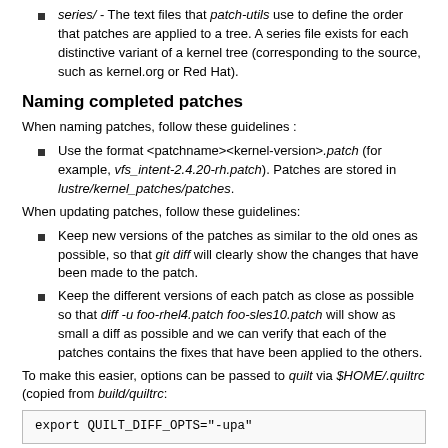series/ - The text files that patch-utils use to define the order that patches are applied to a tree. A series file exists for each distinctive variant of a kernel tree (corresponding to the source, such as kernel.org or Red Hat).
Naming completed patches
When naming patches, follow these guidelines :
Use the format <patchname><kernel-version>.patch (for example, vfs_intent-2.4.20-rh.patch). Patches are stored in lustre/kernel_patches/patches.
When updating patches, follow these guidelines:
Keep new versions of the patches as similar to the old ones as possible, so that git diff will clearly show the changes that have been made to the patch.
Keep the different versions of each patch as close as possible so that diff -u foo-rhel4.patch foo-sles10.patch will show as small a diff as possible and we can verify that each of the patches contains the fixes that have been applied to the others.
To make this easier, options can be passed to quilt via $HOME/.quiltrc (copied from build/quiltrc:
export QUILT_DIFF_OPTS="-upa"